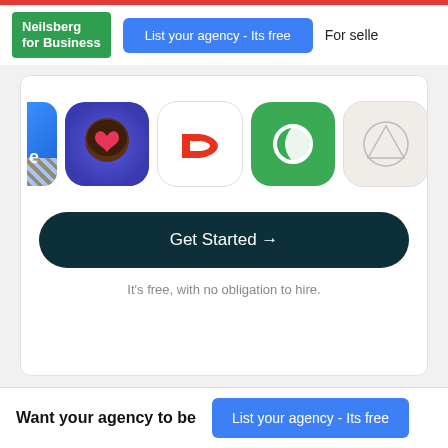Neilsberg for Business | List your agency - Its free | For selle
[Figure (screenshot): Row of app icons: partial blue app on left, DoorDash-like heart icon, DoorDash logo, green leaf/circle app, geometric circle/triangle app, partial purple/sunset app on right]
Get Started →
It's free, with no obligation to hire.
Want your agency to be
List your agency - Its free